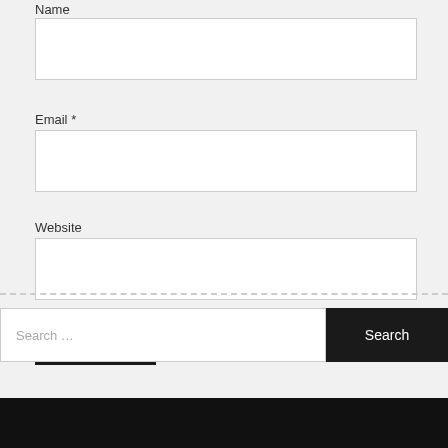Name
Email *
Website
Post Comment
Search …
Search